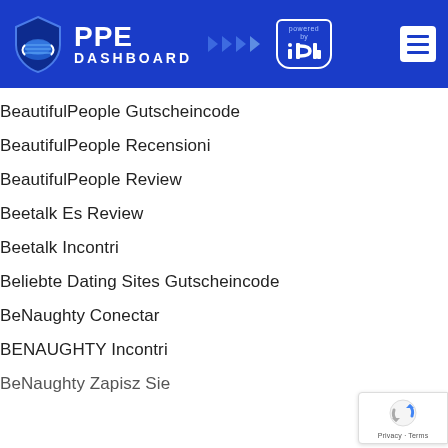[Figure (logo): PPE Dashboard logo with shield icon, arrows, and 'powered by idh' badge on a blue background, with a hamburger menu button on the right]
BeautifulPeople Gutscheincode
BeautifulPeople Recensioni
BeautifulPeople Review
Beetalk Es Review
Beetalk Incontri
Beliebte Dating Sites Gutscheincode
BeNaughty Conectar
BENAUGHTY Incontri
BeNaughty Zapisz Sie